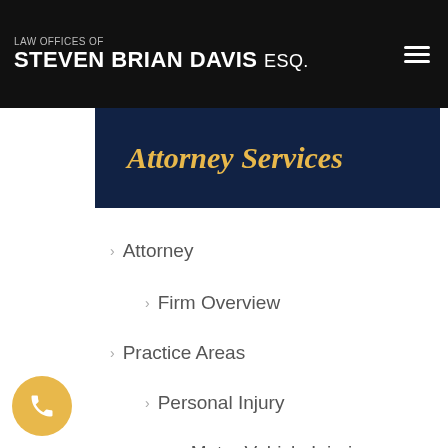LAW OFFICES OF STEVEN BRIAN DAVIS Esq.
Attorney Services
Attorney
Firm Overview
Practice Areas
Personal Injury
Motor Vehicle Injuries
Car Accidents
Motorcycle Accidents